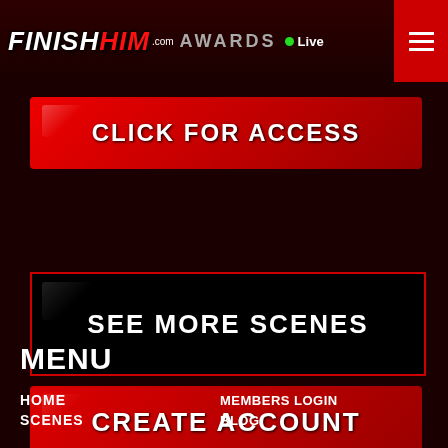FINISHHIM.com AWARDS Live
CLICK FOR ACCESS
SEE MORE SCENES
CREATE ACCOUNT
MENU
HOME
SCENES
MEMBERS LOGIN
BLOG